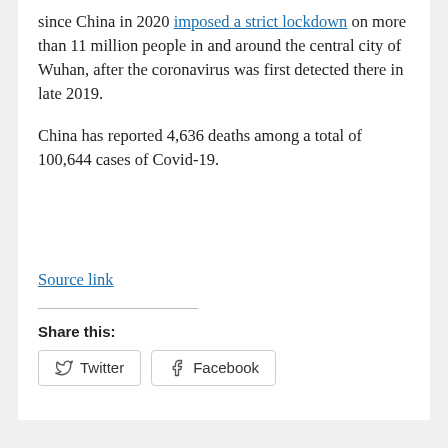since China in 2020 imposed a strict lockdown on more than 11 million people in and around the central city of Wuhan, after the coronavirus was first detected there in late 2019.
China has reported 4,636 deaths among a total of 100,644 cases of Covid-19.
Source link
Share this:
Twitter  Facebook